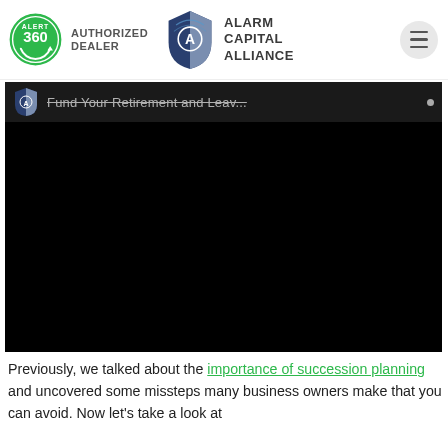[Figure (logo): Alert 360 Authorized Dealer logo (green circle with '360' and 'ALERT' text) paired with Alarm Capital Alliance shield logo and text, plus hamburger menu button on the right]
[Figure (screenshot): Video thumbnail showing mostly black/dark screen with a top bar containing a blue ACA shield icon and video title text 'Fund Your Retirement and Leav...' with a small dot indicator]
Previously, we talked about the importance of succession planning and uncovered some missteps many business owners make that you can avoid. Now let's take a look at